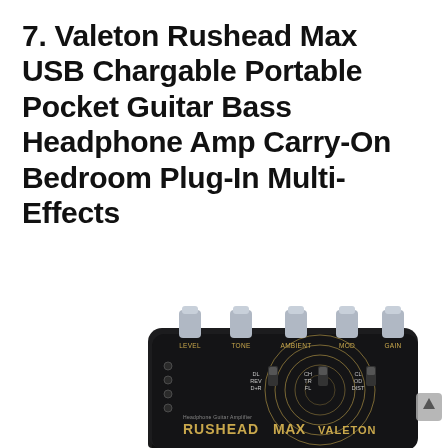7. Valeton Rushead Max USB Chargable Portable Pocket Guitar Bass Headphone Amp Carry-On Bedroom Plug-In Multi-Effects
[Figure (photo): Photo of a Valeton Rushead Max USB chargeable portable pocket guitar headphone amplifier with multi-effects. The device is a small black rectangular unit with 5 grey knobs on top labeled LEVEL, TONE, AMBIENT, MOD, GAIN. The front face shows gold concentric circle decorations, toggle switches for DL/REV/D+R, CH/TR/FL, CL/OD/DIST, LED indicators on the left side, and branding text 'Headphone Guitar Amplifier RUSHEAD MAX VALETON' in gold. A cable plugs into the bottom-left. A grey scroll-up arrow button is visible on the right edge.]